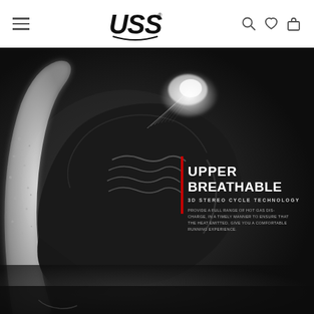USS (logo with hamburger menu and navigation icons)
[Figure (photo): Black sneaker shoe on dark background with white glowing sole arc, spray/mist effect coming from upper, water droplets on left side. Text overlay reads: UPPER BREATHABLE / 3D STEREO CYCLE TECHNOLOGY / PROVIDE A FULL RANGE OF HOT GAS DISCHARGE, IN A TIMELY MANNER TO ENSURE THAT THE HEAT EMITTED, GIVE YOU A COMFORTABLE RUNNING EXPERIENCE]